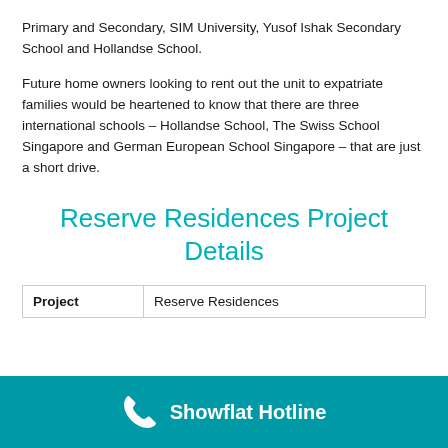Primary and Secondary, SIM University, Yusof Ishak Secondary School and Hollandse School.
Future home owners looking to rent out the unit to expatriate families would be heartened to know that there are three international schools – Hollandse School, The Swiss School Singapore and German European School Singapore – that are just a short drive.
Reserve Residences Project Details
| Project |  |
| --- | --- |
| Project | Reserve Residences |
Showflat Hotline